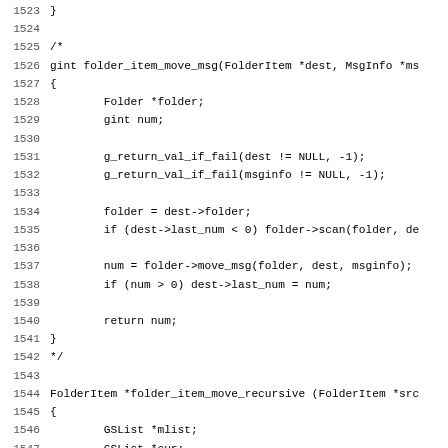[Figure (other): Source code listing in C, lines 1523-1555, showing functions folder_item_move_msg and folder_item_move_recursive with line numbers on the left.]